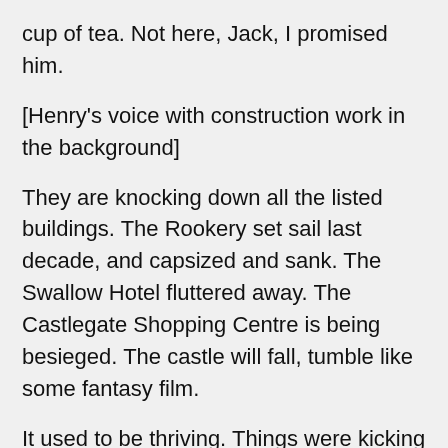cup of tea. Not here, Jack, I promised him.
[Henry's voice with construction work in the background]
They are knocking down all the listed buildings. The Rookery set sail last decade, and capsized and sank. The Swallow Hotel fluttered away. The Castlegate Shopping Centre is being besieged. The castle will fall, tumble like some fantasy film.
It used to be thriving. Things were kicking off. It was a town people visited, whether to work or play. Maybe some of them stayed, maybe not. But we were on the map. Plans get made, and press releases trumpet the latest future we're offered.
They really fall, and bingers are running a business...